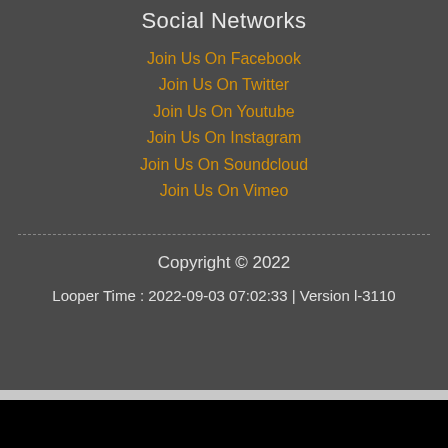Social Networks
Join Us On Facebook
Join Us On Twitter
Join Us On Youtube
Join Us On Instagram
Join Us On Soundcloud
Join Us On Vimeo
Copyright © 2022
Looper Time : 2022-09-03 07:02:33 | Version l-3110